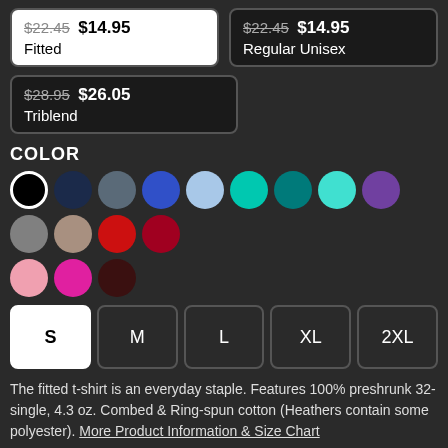$22.45 $14.95 Fitted
$22.45 $14.95 Regular Unisex
$28.95 $26.05 Triblend
COLOR
[Figure (other): Color swatches: black (selected), navy, slate, blue, light blue, teal, dark teal, cyan, purple, gray, taupe, red, dark red, pink, hot pink, dark brown]
S M L XL 2XL size buttons
The fitted t-shirt is an everyday staple. Features 100% preshrunk 32-single, 4.3 oz. Combed & Ring-spun cotton (Heathers contain some polyester). More Product Information & Size Chart
[Figure (other): Yellow button bar at the bottom]